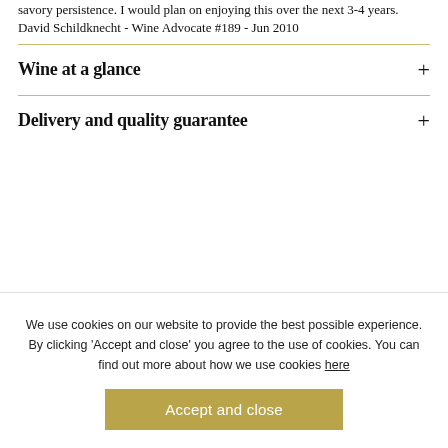savory persistence. I would plan on enjoying this over the next 3-4 years.
David Schildknecht - Wine Advocate #189 - Jun 2010
Wine at a glance
Delivery and quality guarantee
We use cookies on our website to provide the best possible experience. By clicking ‘Accept and close’ you agree to the use of cookies. You can find out more about how we use cookies here
Accept and close